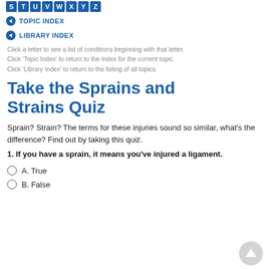S T U V W X Y Z (alphabet nav letters)
TOPIC INDEX
LIBRARY INDEX
Click a letter to see a list of conditions beginning with that letter. Click 'Topic Index' to return to the index for the current topic. Click 'Library Index' to return to the listing of all topics.
Take the Sprains and Strains Quiz
Sprain? Strain? The terms for these injuries sound so similar, what's the difference? Find out by taking this quiz.
1. If you have a sprain, it means you've injured a ligament.
A. True
B. False